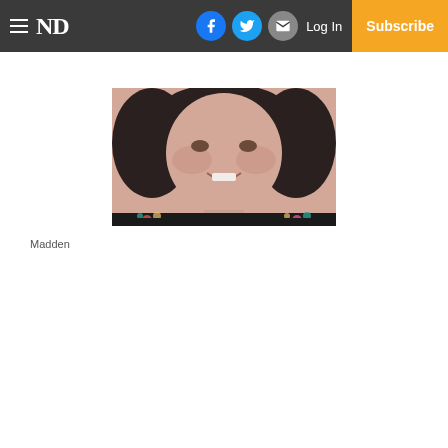ND — Log In — Subscribe
[Figure (photo): Portrait photo of a woman named Madden, smiling, with dark curly hair, wearing a floral patterned top and a necklace.]
Madden